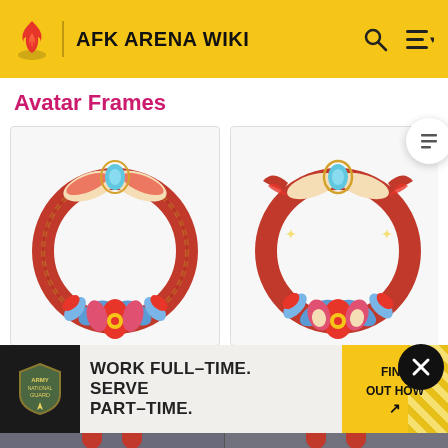AFK ARENA WIKI
Avatar Frames
[Figure (illustration): Spring Spree Frame — a circular red/gold avatar frame with a winged blue teardrop gem at the top and lotus flower decorations at the bottom]
Spring Spree Frame.
[Figure (illustration): Spring Spree Top 20% Frame — similar circular red/gold avatar frame with more elaborate wing and star decorations and lotus flowers at the bottom]
Spring Spree Top 20% Frame.
[Figure (infographic): Army National Guard advertisement banner: WORK FULL-TIME. SERVE PART-TIME. FIND OUT HOW]
[Figure (illustration): Partial bottom row showing two more avatar frame images (cropped)]